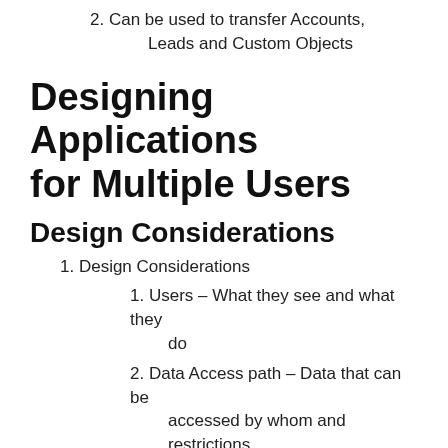2. Can be used to transfer Accounts, Leads and Custom Objects
Designing Applications for Multiple Users
Design Considerations
1. Design Considerations
1. Users – What they see and what they do
2. Data Access path – Data that can be accessed by whom and restrictions
3. Analyzing Business requirements
1. Identify Actors and Data
2. Identify How much each actor will